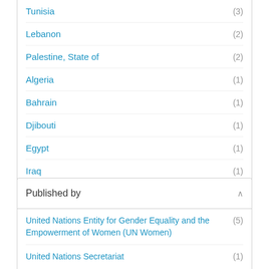Tunisia (3)
Lebanon (2)
Palestine, State of (2)
Algeria (1)
Bahrain (1)
Djibouti (1)
Egypt (1)
Iraq (1)
Jordan (1)
Libya (1)
Show more
Published by
United Nations Entity for Gender Equality and the Empowerment of Women (UN Women) (5)
United Nations Secretariat (1)